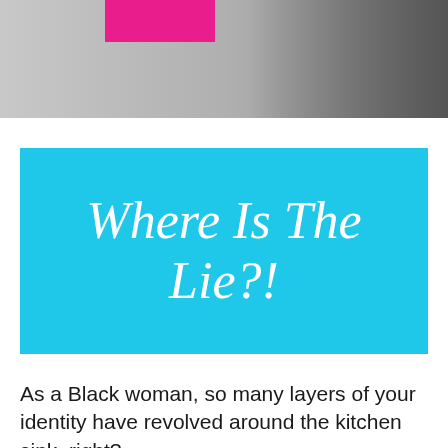[Figure (photo): Partial photo of a person, cropped at top, with a pink rectangular element visible in the upper left area]
[Figure (other): Cyan/sky-blue rectangle with large white serif italic text reading 'Where Is The Lie?!']
As a Black woman, so many layers of your identity have revolved around the kitchen sink, right?